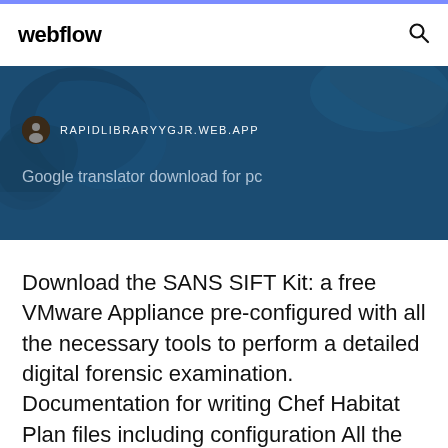webflow
[Figure (screenshot): Banner image showing a dark blue world map background with a URL bar showing RAPIDLIBRARYYGJR.WEB.APP and text 'Google translator download for pc']
Download the SANS SIFT Kit: a free VMware Appliance pre-configured with all the necessary tools to perform a detailed digital forensic examination. Documentation for writing Chef Habitat Plan files including configuration All the variable names are the same but we use